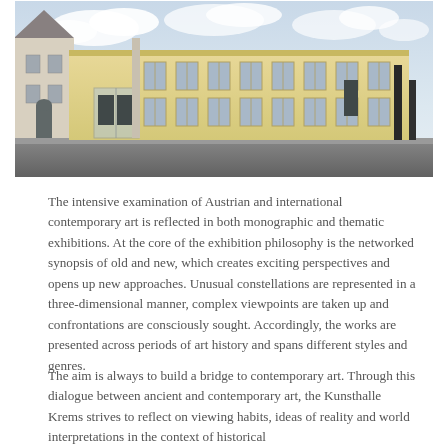[Figure (photo): Exterior photograph of Kunsthalle Krems building: a large yellow classical building with multiple windows, a glass entrance structure in the center, a white tower on the left, and tall black monolithic pillars on the right side. Taken from street level under a cloudy sky.]
The intensive examination of Austrian and international contemporary art is reflected in both monographic and thematic exhibitions. At the core of the exhibition philosophy is the networked synopsis of old and new, which creates exciting perspectives and opens up new approaches. Unusual constellations are represented in a three-dimensional manner, complex viewpoints are taken up and confrontations are consciously sought. Accordingly, the works are presented across periods of art history and spans different styles and genres.
The aim is always to build a bridge to contemporary art. Through this dialogue between ancient and contemporary art, the Kunsthalle Krems strives to reflect on viewing habits, ideas of reality and world interpretations in the context of historical